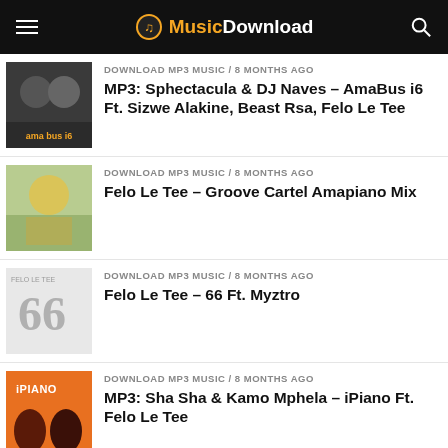MusicDownload
DOWNLOAD MP3 MUSIC / 8 months ago
MP3: Sphectacula & DJ Naves – AmaBus i6 Ft. Sizwe Alakine, Beast Rsa, Felo Le Tee
DOWNLOAD MP3 MUSIC / 8 months ago
Felo Le Tee – Groove Cartel Amapiano Mix
DOWNLOAD MP3 MUSIC / 8 months ago
Felo Le Tee – 66 Ft. Myztro
DOWNLOAD MP3 MUSIC / 8 months ago
MP3: Sha Sha & Kamo Mphela – iPiano Ft. Felo Le Tee
DOWNLOAD MP3 MUSIC / 8 months ago
Felo Le Tee – Nkwari Flavor Ft. Myztro